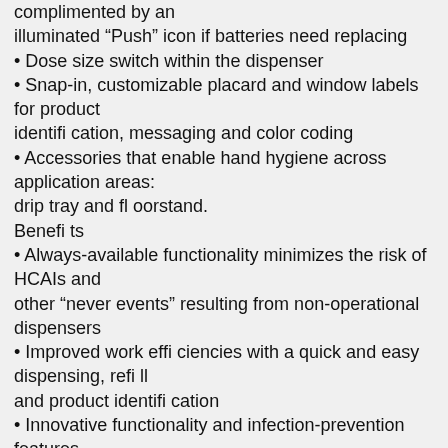complimented by an illuminated “Push” icon if batteries need replacing
• Dose size switch within the dispenser
• Snap-in, customizable placard and window labels for product identification, messaging and color coding
• Accessories that enable hand hygiene across application areas: drip tray and fl oorstand.
Benefi ts
• Always-available functionality minimizes the risk of HCAIs and other “never events” resulting from non-operational dispensers
• Improved work effi ciencies with a quick and easy dispensing, refi ll and product identifi cation
• Innovative functionality and infection-prevention features improve customer experience
• Smooth and safe user experience stimulates hand